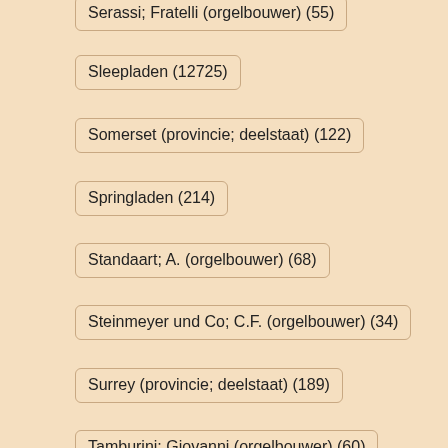Serassi; Fratelli (orgelbouwer) (55)
Sleepladen (12725)
Somerset (provincie; deelstaat) (122)
Springladen (214)
Standaart; A. (orgelbouwer) (68)
Steinmeyer und Co; C.F. (orgelbouwer) (34)
Surrey (provincie; deelstaat) (189)
Tamburini; Giovanni (orgelbouwer) (60)
Taschenladen (90)
Te Koop (51)
Thüringen (provincie; deelstaat) (220)
Tickell & Company; Kenneth (orgelbouwer) (36)